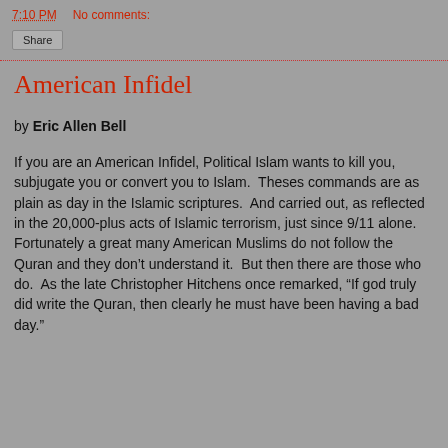7:10 PM   No comments:
Share
American Infidel
by Eric Allen Bell
If you are an American Infidel, Political Islam wants to kill you, subjugate you or convert you to Islam.  Theses commands are as plain as day in the Islamic scriptures.  And carried out, as reflected in the 20,000-plus acts of Islamic terrorism, just since 9/11 alone.  Fortunately a great many American Muslims do not follow the Quran and they don't understand it.  But then there are those who do.  As the late Christopher Hitchens once remarked, “If god truly did write the Quran, then clearly he must have been having a bad day.”